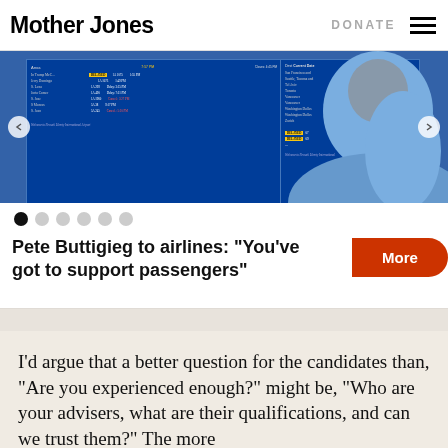Mother Jones | DONATE
[Figure (photo): Airport departure board screens showing flight information in blue, with a person in a blue jacket visible on the right side. Navigation arrows visible on left and right edges.]
Pete Buttigieg to airlines: “You’ve got to support passengers”
I’d argue that a better question for the candidates than, “Are you experienced enough?” might be, “Who are your advisers, what are their qualifications, and can we trust them?” The more